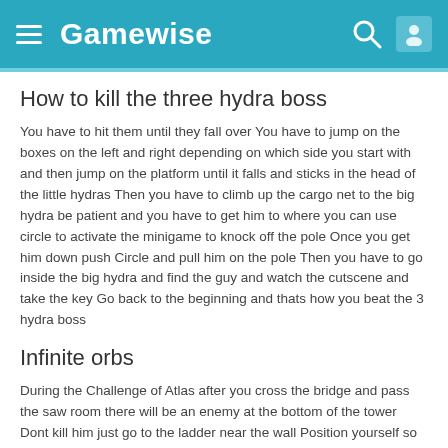Gamewise
How to kill the three hydra boss
You have to hit them until they fall over You have to jump on the boxes on the left and right depending on which side you start with and then jump on the platform until it falls and sticks in the head of the little hydras Then you have to climb up the cargo net to the big hydra be patient and you have to get him to where you can use circle to activate the minigame to knock off the pole Once you get him down push Circle and pull him on the pole Then you have to go inside the big hydra and find the guy and watch the cutscene and take the key Go back to the beginning and thats how you beat the 3 hydra boss
Infinite orbs
During the Challenge of Atlas after you cross the bridge and pass the saw room there will be an enemy at the bottom of the tower Dont kill him just go to the ladder near the wall Position yourself so that you are between the enemy and the ladder Use the square square triangle combo to take him out Make sure you kill the enemy above the ladder Once you kill it it should hit the ground then bounce back up getting caught in this bounce If done correctly it will continually release red orbs Once you get the glitch going just stand there for about 10 minutes You will get the max amount of orbs 100 full red bars which is